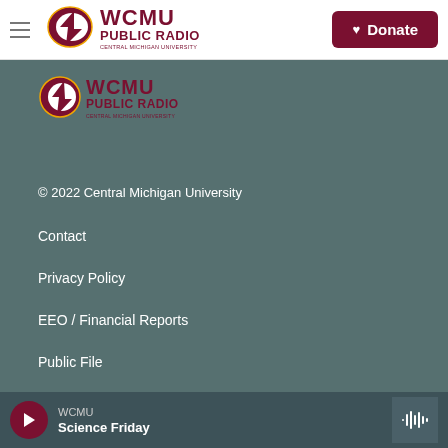[Figure (logo): WCMU Public Radio - Central Michigan University logo in navigation bar]
Donate
[Figure (logo): WCMU Public Radio - Central Michigan University secondary logo on grey background]
© 2022 Central Michigan University
Contact
Privacy Policy
EEO / Financial Reports
Public File
Support
Explore CMU
WCMU
Science Friday